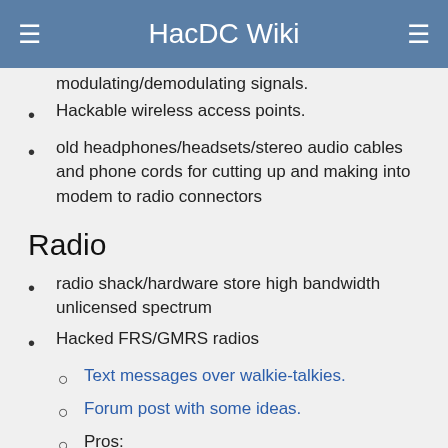HacDC Wiki
modulating/demodulating signals.
Hackable wireless access points.
old headphones/headsets/stereo audio cables and phone cords for cutting up and making into modem to radio connectors
Radio
radio shack/hardware store high bandwidth unlicensed spectrum
Hacked FRS/GMRS radios
Text messages over walkie-talkies.
Forum post with some ideas.
Pros:
cheap
longish range (35mi allegedly)